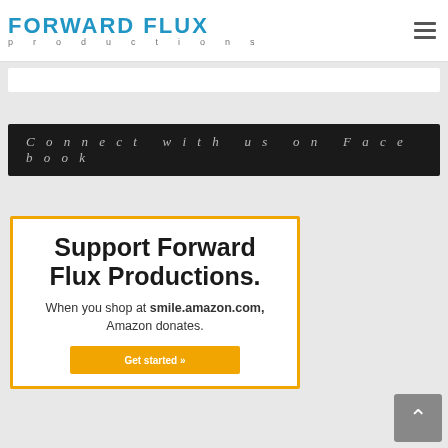FORWARD FLUX productions
Connect with us on Facebook
Support Forward Flux Productions. When you shop at smile.amazon.com, Amazon donates.